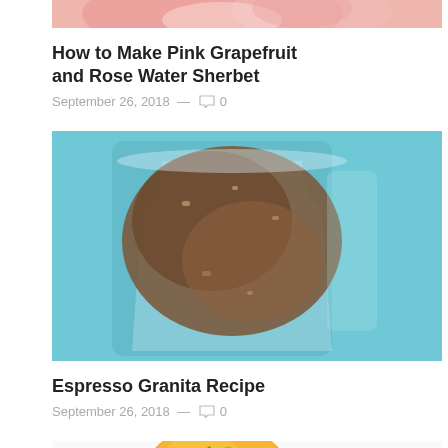[Figure (photo): Cropped top portion of a pink grapefruit sherbet dessert image]
How to Make Pink Grapefruit and Rose Water Sherbet
September 26, 2018  —  0
[Figure (photo): Close-up of espresso granita in a glass with blue background]
Espresso Granita Recipe
September 26, 2018  —  0
[Figure (photo): Orange sorbet in a glass with green garnish on white background]